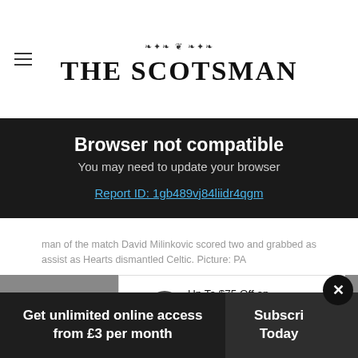THE SCOTSMAN
Browser not compatible
You may need to update your browser
Report ID: 1gb489vj84liidr4qgm
man of the match David Milinkovic scored two and grabbed as assist as Hearts dismantled Celtic. Picture: PA
[Figure (other): Advertisement: Up To $75 Off on Goodyear Tires at Virginia Tire & Auto]
Get unlimited online access from £3 per month
Subscribe Today